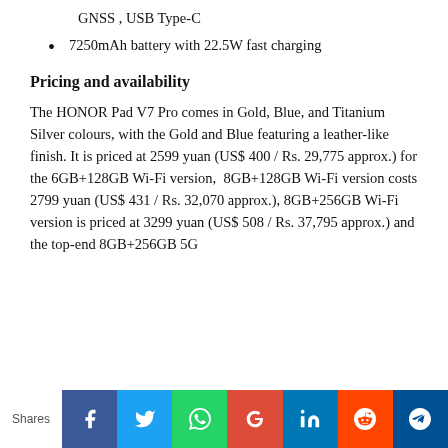GNSS , USB Type-C
7250mAh battery with 22.5W fast charging
Pricing and availability
The HONOR Pad V7 Pro comes in Gold, Blue, and Titanium Silver colours, with the Gold and Blue featuring a leather-like finish. It is priced at 2599 yuan (US$ 400 / Rs. 29,775 approx.) for the 6GB+128GB Wi-Fi version,  8GB+128GB Wi-Fi version costs 2799 yuan (US$ 431 / Rs. 32,070 approx.), 8GB+256GB Wi-Fi version is priced at 3299 yuan (US$ 508 / Rs. 37,795 approx.) and the top-end 8GB+256GB 5G